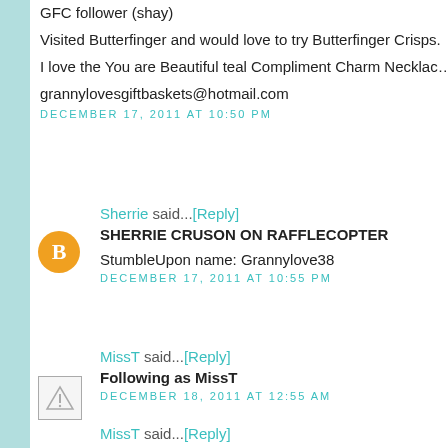GFC follower (shay)
Visited Butterfinger and would love to try Butterfinger Crisps.
I love the You are Beautiful teal Compliment Charm Necklace from Comp
grannylovesgiftbaskets@hotmail.com
DECEMBER 17, 2011 AT 10:50 PM
Sherrie said...[Reply]
SHERRIE CRUSON ON RAFFLECOPTER
StumbleUpon name: Grannylove38
DECEMBER 17, 2011 AT 10:55 PM
MissT said...[Reply]
Following as MissT
DECEMBER 18, 2011 AT 12:55 AM
MissT said...[Reply]